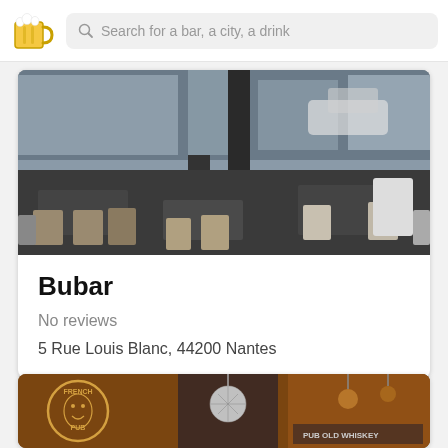[Figure (screenshot): App logo: beer mug emoji icon in yellow and white]
Search for a bar, a city, a drink
[Figure (photo): Outdoor bar/cafe terrace with tables and chairs, dark urban setting]
Bubar
No reviews
5 Rue Louis Blanc, 44200 Nantes
[Figure (photo): Interior of French Pub bar with disco balls, warm orange lighting and signage reading FRENCH PUB]